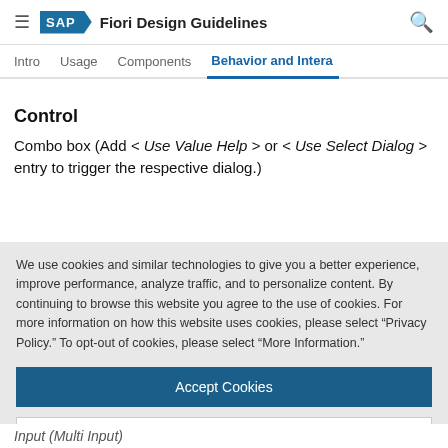SAP Fiori Design Guidelines
Behavior and Interaction
Control
Combo box (Add < Use Value Help > or < Use Select Dialog > entry to trigger the respective dialog.)
We use cookies and similar technologies to give you a better experience, improve performance, analyze traffic, and to personalize content. By continuing to browse this website you agree to the use of cookies. For more information on how this website uses cookies, please select “Privacy Policy.” To opt-out of cookies, please select “More Information.”
Accept Cookies
More Information
Privacy Policy | Powered by: TrustArc
Input (Multi Input)